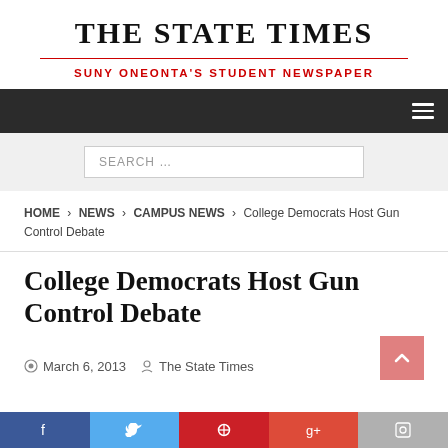THE STATE TIMES
SUNY ONEONTA'S STUDENT NEWSPAPER
SEARCH ...
HOME › NEWS › CAMPUS NEWS › College Democrats Host Gun Control Debate
College Democrats Host Gun Control Debate
March 6, 2013  The State Times